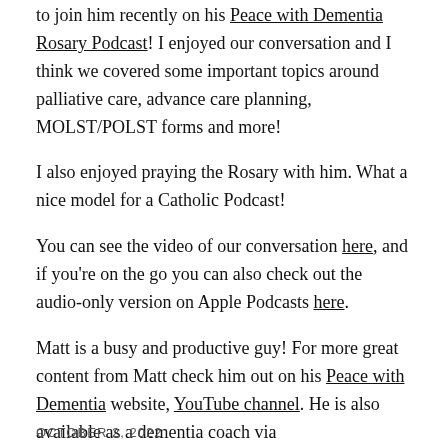to join him recently on his Peace with Dementia Rosary Podcast! I enjoyed our conversation and I think we covered some important topics around palliative care, advance care planning, MOLST/POLST forms and more!
I also enjoyed praying the Rosary with him. What a nice model for a Catholic Podcast!
You can see the video of our conversation here, and if you're on the go you can also check out the audio-only version on Apple Podcasts here.
Matt is a busy and productive guy! For more great content from Matt check him out on his Peace with Dementia website, YouTube channel. He is also available as a dementia coach via MyCatholicDoctor.
OCTOBER 2, 2022